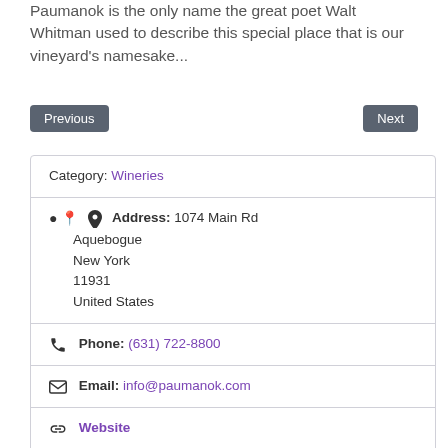Paumanok is the only name the great poet Walt Whitman used to describe this special place that is our vineyard's namesake...
Previous
Next
Category: Wineries
Address: 1074 Main Rd
Aquebogue
New York
11931
United States
Phone: (631) 722-8800
Email: info@paumanok.com
Website
Facebook